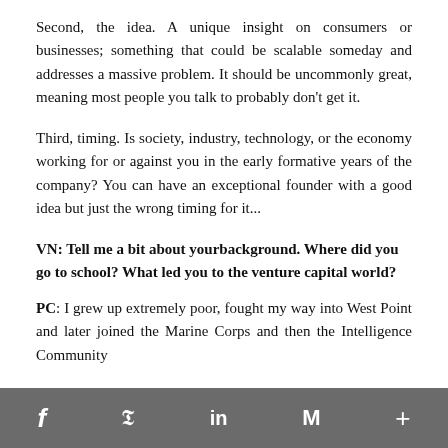Second, the idea. A unique insight on consumers or businesses; something that could be scalable someday and addresses a massive problem. It should be uncommonly great, meaning most people you talk to probably don't get it.
Third, timing. Is society, industry, technology, or the economy working for or against you in the early formative years of the company? You can have an exceptional founder with a good idea but just the wrong timing for it...
VN: Tell me a bit about yourbackground. Where did you go to school? What led you to the venture capital world?
PC: I grew up extremely poor, fought my way into West Point and later joined the Marine Corps and then the Intelligence Community
f  𝕏  in  M  +